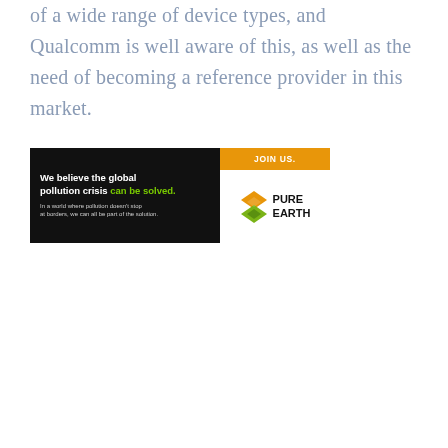of a wide range of device types, and Qualcomm is well aware of this, as well as the need of becoming a reference provider in this market.
[Figure (other): Advertisement for Pure Earth charity. Left panel: black background with white bold text 'We believe the global pollution crisis' followed by green text 'can be solved.' and smaller white subtext 'In a world where pollution doesn't stop at borders, we can all be part of the solution.' Right panel: orange bar at top reading 'JOIN US.' below which is the Pure Earth logo (diamond icon) and bold text 'PURE EARTH'.]